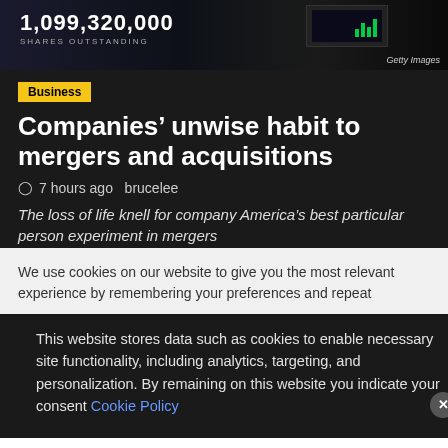[Figure (screenshot): Hero image showing stock market ticker with '1,099,320,000 SHARES OUTSTANDING' text overlay on dark background, with Getty Images watermark]
Business
Companies’ unwise habit to mergers and acquisitions
⌛ 7 hours ago  brucelee
The loss of life knell for company America’s best particular person experiment in mergers
We use cookies on our website to give you the most relevant experience by remembering your preferences and repeat visits. By clicking “Accept All”, you consent to the use of ALL the cookies. provide a controlled consent.
This website stores data such as cookies to enable necessary site functionality, including analytics, targeting, and personalization. By remaining on this website you indicate your consent Cookie Policy